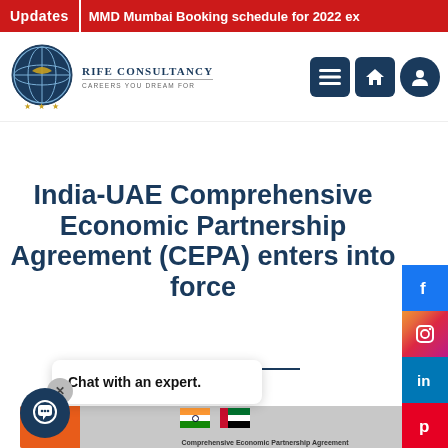Updates   MMD Mumbai Booking schedule for 2022 ex
[Figure (logo): Rife Consultancy globe logo with stars, navy blue]
Rife Consultancy
Careers You Dream For
[Figure (illustration): Navigation icons: hamburger menu, home, user account - dark navy squares]
[Figure (illustration): Social media sidebar buttons: Facebook, Instagram, LinkedIn, Pinterest]
India-UAE Comprehensive Economic Partnership Agreement (CEPA) enters into force
Chat with an expert.
[Figure (photo): Photo showing officials at India-UAE Comprehensive Economic Partnership Agreement signing event with Indian and UAE flags, banner reads INDIA-U... Comprehensive Economic Partnership Agreement]